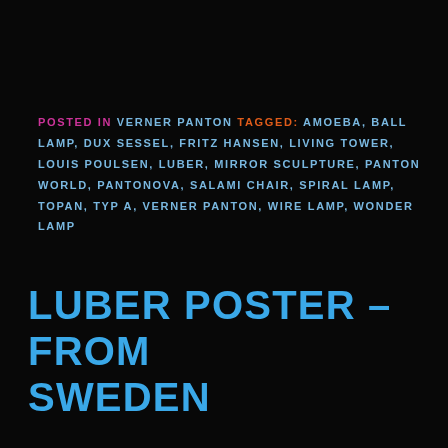POSTED IN VERNER PANTON TAGGED: AMOEBA, BALL LAMP, DUX SESSEL, FRITZ HANSEN, LIVING TOWER, LOUIS POULSEN, LUBER, MIRROR SCULPTURE, PANTON WORLD, PANTONOVA, SALAMI CHAIR, SPIRAL LAMP, TOPAN, TYP A, VERNER PANTON, WIRE LAMP, WONDER LAMP
LUBER POSTER – FROM SWEDEN